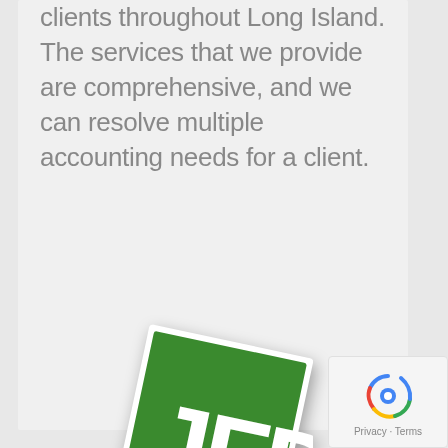clients throughout Long Island. The services that we provide are comprehensive, and we can resolve multiple accounting needs for a client.
[Figure (logo): JFD logo — green square rotated slightly clockwise with large white letters JFD and white swoosh lines at the bottom, on a white card background with drop shadow]